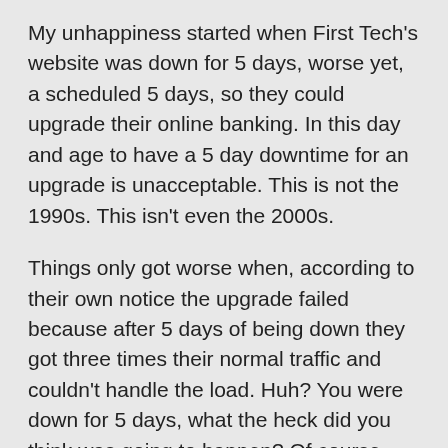My unhappiness started when First Tech's website was down for 5 days, worse yet, a scheduled 5 days, so they could upgrade their online banking. In this day and age to have a 5 day downtime for an upgrade is unacceptable. This is not the 1990s. This isn't even the 2000s.
Things only got worse when, according to their own notice the upgrade failed because after 5 days of being down they got three times their normal traffic and couldn't handle the load. Huh? You were down for 5 days, what the heck did you think was going to happen? Of course you're going to get a load spike! Their solution was to roll all of their website back to the old website so they could get back up and running while they figured out what to do about the extra load. The planning screw ups this situation called for are,